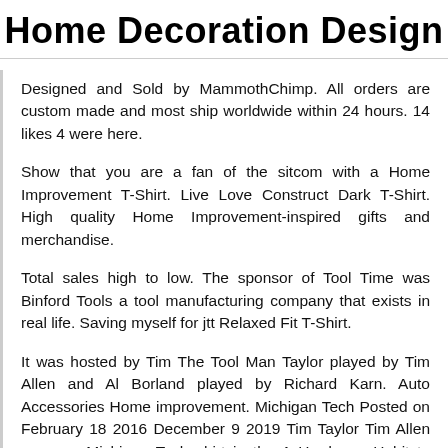Home Decoration Design
Designed and Sold by MammothChimp. All orders are custom made and most ship worldwide within 24 hours. 14 likes 4 were here.
Show that you are a fan of the sitcom with a Home Improvement T-Shirt. Live Love Construct Dark T-Shirt. High quality Home Improvement-inspired gifts and merchandise.
Total sales high to low. The sponsor of Tool Time was Binford Tools a tool manufacturing company that exists in real life. Saving myself for jtt Relaxed Fit T-Shirt.
It was hosted by Tim The Tool Man Taylor played by Tim Allen and Al Borland played by Richard Karn. Auto Accessories Home improvement. Michigan Tech Posted on February 18 2016 December 9 2019 Tim Taylor Tim Allen wears a Michigan Tech shirt in the A Hardware Habit to Break episode of Home Improvement Season 8 Episode